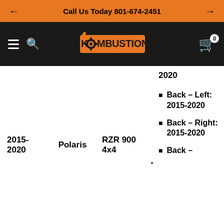Call Us Today 801-674-2451
[Figure (logo): Kombustion logo in orange on dark background with flame and gear imagery]
2020
Back – Left: 2015-2020
Back – Right: 2015-2020
Back –
2015-2020 | Polaris | RZR 900 4x4 | -